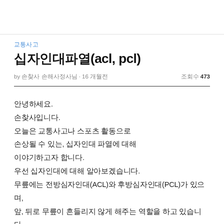교통사고
십자인대파열(acl, pcl)
by 손찾사 손해사정사님 · 16 개월전
조회수 473
안녕하세요.
손찾사입니다.
오늘은 교통사고나 스포츠 활동으로
손상될 수 있는, 십자인대 파열에 대해
이야기하고자 합니다.
우선 십자인대에 대해 알아보겠습니다.
무릎에는 전방심자인대(ACL)와 후방심자인대(PCL)가 있으며,
앞, 뒤로 무릎이 흔들리지 않게 해주는 역할을 하고 있습니다.
그 옆에는 내측 인대와 외측 인대가 양옆으로 잡아주고 있고,